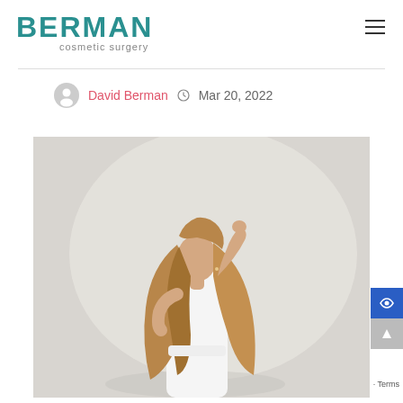BERMAN cosmetic surgery
David Berman  Mar 20, 2022
[Figure (photo): Young woman in white top posing with arm raised and long flowing hair against a light background, cosmetic surgery promotional image]